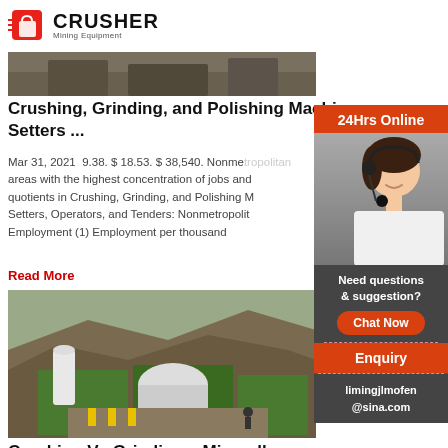CRUSHER Mining Equipment
[Figure (photo): Top portion of industrial machinery photo, partially cropped]
Crushing, Grinding, and Polishing Machine Setters ...
Mar 31, 2021  9.38. $ 18.53. $ 38,540. Nonmetropolitan areas with the highest concentration of jobs and quotients in Crushing, Grinding, and Polishing Machine Setters, Operators, and Tenders: Nonmetropolitan Employment (1) Employment per thousand
Read More
[Figure (photo): Industrial mining facility with large white dome structures on hillside]
Crushing Vs Grinding – Minerallurg...
For crushing no grinding media is required, the ore size is
[Figure (infographic): Sidebar with 24Hrs Online chat support, woman with headset, Need questions & suggestion? Chat Now button, Enquiry, limingjlmofen@sina.com]